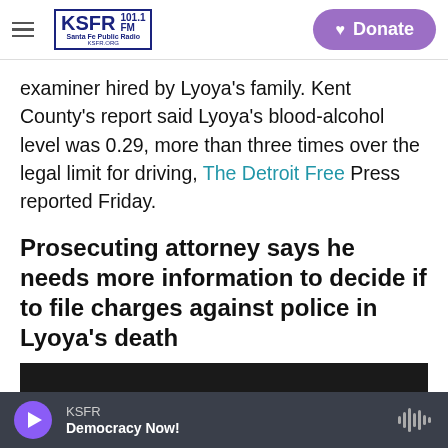KSFR 101.1 FM Santa Fe Public Radio | Donate
examiner hired by Lyoya's family. Kent County's report said Lyoya's blood-alcohol level was 0.29, more than three times over the legal limit for driving, The Detroit Free Press reported Friday.
Prosecuting attorney says he needs more information to decide if to file charges against police in Lyoya's death
[Figure (screenshot): Dark video player embed with partially visible caption text: 'This video is geo-restricted and only available...']
KSFR — Democracy Now! (audio player bar)